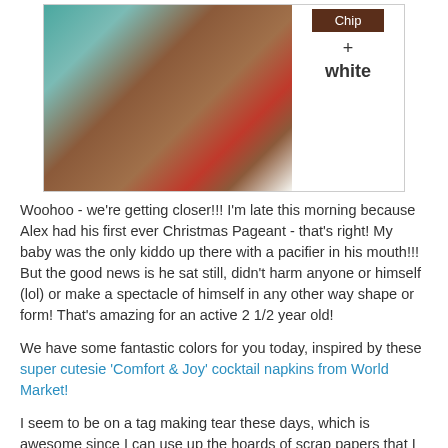[Figure (photo): Photo of Christmas-themed felt/fabric napkins or gift wrap in teal, brown and red colors with decorative stitching, alongside a sidebar showing color swatches labeled 'Chip', '+', and 'white' on white background.]
Woohoo - we're getting closer!!! I'm late this morning because Alex had his first ever Christmas Pageant - that's right! My baby was the only kiddo up there with a pacifier in his mouth!!! But the good news is he sat still, didn't harm anyone or himself (lol) or make a spectacle of himself in any other way shape or form! That's amazing for an active 2 1/2 year old!
We have some fantastic colors for you today, inspired by these super cutesie 'Comfort & Joy' cocktail napkins from World Market!
I seem to be on a tag making tear these days, which is awesome since I can use up the hoards of scrap papers that I so carefully pack~rat away... so here's another one: